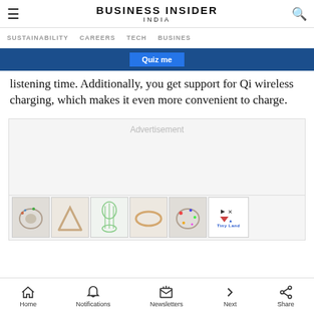BUSINESS INSIDER INDIA
SUSTAINABILITY  CAREERS  TECH  BUSINESS
listening time. Additionally, you get support for Qi wireless charging, which makes it even more convenient to charge.
[Figure (screenshot): Advertisement placeholder box with toy product thumbnails below]
Home  Notifications  Newsletters  Next  Share